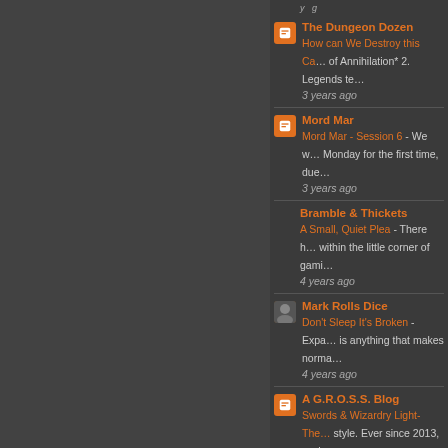The Dungeon Dozen - How can We Destroy this Ca... of Annihilation* 2. Legends te... - 3 years ago
Mord Mar - Mord Mar - Session 6 - We w... Monday for the first time, due... - 3 years ago
Bramble & Thickets - A Small, Quiet Plea - There h... within the little corner of gami... - 4 years ago
Mark Rolls Dice - Don't Sleep It's Broken - Expa... is anything that makes norma... - 4 years ago
A G.R.O.S.S. Blog - Swords & Wizardry Light-The... style. Ever since 2013, we ha... - 4 years ago
The Tao of D&D - -